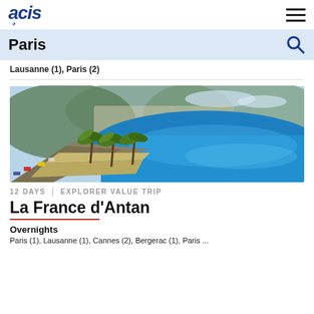acis
Paris
Lausanne (1), Paris (2)
[Figure (photo): Aerial coastal view of Nice, France, showing the Promenade des Anglais with palm trees, a wide bay with bright blue water, and hillside city buildings in the background]
12 DAYS   |   EXPLORER VALUE TRIP
La France d’Antan
Overnights
Paris (1), Lausanne (1), Cannes (2), Bergerac (1), Paris ...